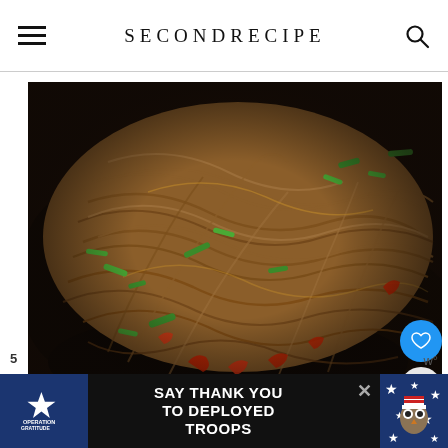SECONDRECIPE
[Figure (photo): Stir-fried noodles (lo mein) with green onions and red bell peppers in a dark wok, photographed from above]
[Figure (infographic): Advertisement banner: SAY THANK YOU TO DEPLOYED TROOPS - Operation Gratitude with star and owl/mascot graphics]
5